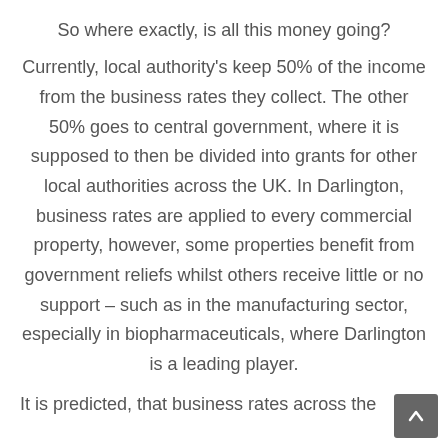So where exactly, is all this money going?
Currently, local authority's keep 50% of the income from the business rates they collect. The other 50% goes to central government, where it is supposed to then be divided into grants for other local authorities across the UK. In Darlington, business rates are applied to every commercial property, however, some properties benefit from government reliefs whilst others receive little or no support – such as in the manufacturing sector, especially in biopharmaceuticals, where Darlington is a leading player.
It is predicted, that business rates across the UK will...